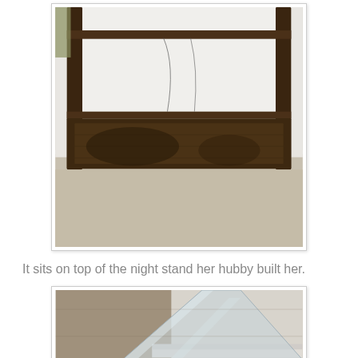[Figure (photo): A dark wooden nightstand with shelf and drawer, sitting on beige carpet against a white wall. The furniture appears rustic and handmade.]
It sits on top of the night stand her hubby built her.
[Figure (photo): A sheet of glass or mirror leaning against a wall on a wooden floor, partially visible from the bottom portion of the image.]